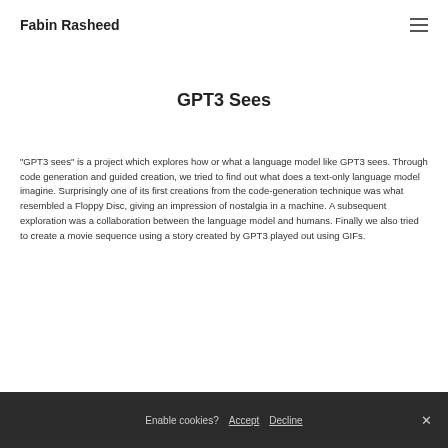Fabin Rasheed
GPT3 Sees
“GPT3 sees” is a project which explores how or what a language model like GPT3 sees. Through code generation and guided creation, we tried to find out what does a text-only language model imagine. Surprisingly one of its first creations from the code-generation technique was what resembled a Floppy Disc, giving an impression of nostalgia in a machine. A subsequent exploration was a collaboration between the language model and humans. Finally we also tried to create a movie sequence using a story created by GPT3 played out using GIFs.
Enable cookies?  Accept  Decline  ×